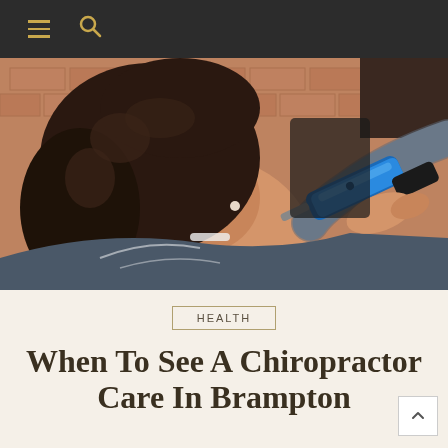Navigation bar with menu and search icons
[Figure (photo): A chiropractor using a handheld instrument-assisted tool (blue Activator device) on a female patient's neck/upper spine area. Brick wall visible in background. Patient has curly brown hair and is wearing a patterned top.]
HEALTH
When To See A Chiropractor Care In Brampton